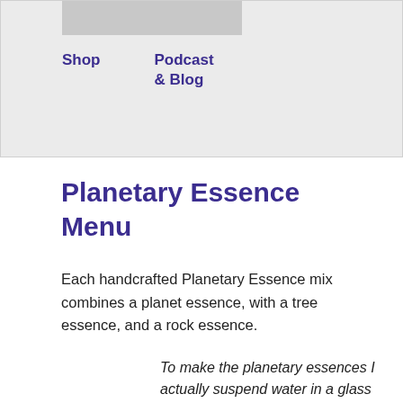Shop    Podcast & Blog
Planetary Essence Menu
Each handcrafted Planetary Essence mix combines a planet essence, with a tree essence, and a rock essence.
To make the planetary essences I actually suspend water in a glass over a telescope lens pointed at